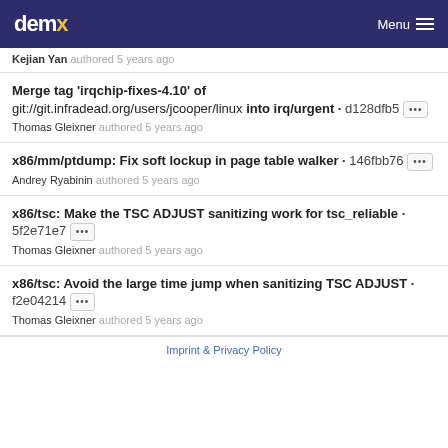demx Menu
Kejian Yan authored 5 years ago
Merge tag 'irqchip-fixes-4.10' of git://git.infradead.org/users/jcooper/linux into irq/urgent · d128dfb5 ··· Thomas Gleixner authored 5 years ago
x86/mm/ptdump: Fix soft lockup in page table walker · 146fbb76 ··· Andrey Ryabinin authored 5 years ago
x86/tsc: Make the TSC ADJUST sanitizing work for tsc_reliable · 5f2e71e7 ··· Thomas Gleixner authored 5 years ago
x86/tsc: Avoid the large time jump when sanitizing TSC ADJUST · f2e04214 ··· Thomas Gleixner authored 5 years ago
Imprint & Privacy Policy